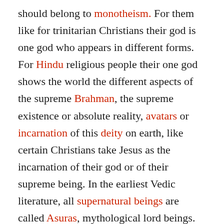should belong to monotheism. For them like for trinitarian Christians their god is one god who appears in different forms. For Hindu religious people their one god shows the world the different aspects of the supreme Brahman, the supreme existence or absolute reality, avatars or incarnation of this deity on earth, like certain Christians take Jesus as the incarnation of their god or of their supreme being. In the earliest Vedic literature, all supernatural beings are called Asuras, mythological lord beings. in the Vedic religion of India and in later Hinduism, one of many gods, often roughly divided into sky, air, and earth divinities on the basis of their identification with the forces of nature. In the pantheistic systems that emerged by the Late Vedic period, the devas became subordinate to the one